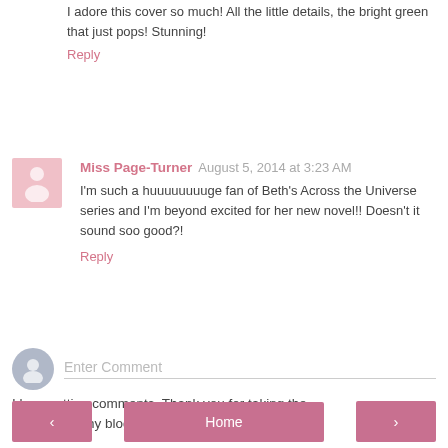I adore this cover so much! All the little details, the bright green that just pops! Stunning!
Reply
Miss Page-Turner  August 5, 2014 at 3:23 AM
I'm such a huuuuuuuuge fan of Beth's Across the Universe series and I'm beyond excited for her new novel!! Doesn't it sound soo good?!
Reply
Enter Comment
I love getting comments. Thank you for taking the time to visit my blog :)
< Home >